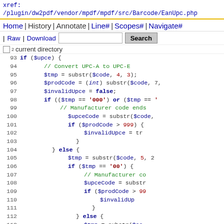xref:
/plugin/dw2pdf/vendor/mpdf/mpdf/src/Barcode/EanUpc.php
Home | History | Annotate | Line# | Scopes# | Navigate#
|Raw | Download  [Search box] Search
02 current directory
[Figure (screenshot): Source code viewer showing PHP code lines 93-115 of EanUpc.php, displaying UPC-A to UPC-E conversion logic with syntax highlighting (keywords in bold blue, variables in blue, strings in dark red, comments in green)]